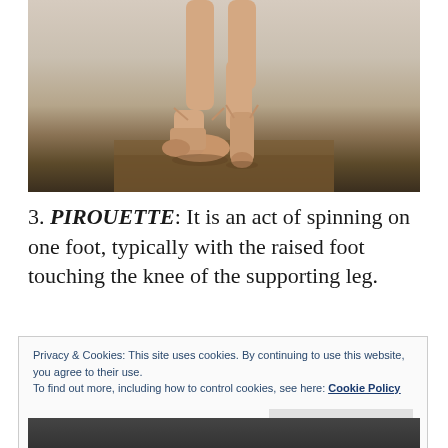[Figure (photo): Close-up photo of ballet dancer's feet and lower legs in pink satin pointe shoes on a wooden floor, one foot flat and one foot en pointe, against a light beige wall background.]
3. PIROUETTE: It is an act of spinning on one foot, typically with the raised foot touching the knee of the supporting leg.
Privacy & Cookies: This site uses cookies. By continuing to use this website, you agree to their use.
To find out more, including how to control cookies, see here: Cookie Policy
[Figure (photo): Partial view of another ballet-related photo at the bottom of the page, partially cut off.]